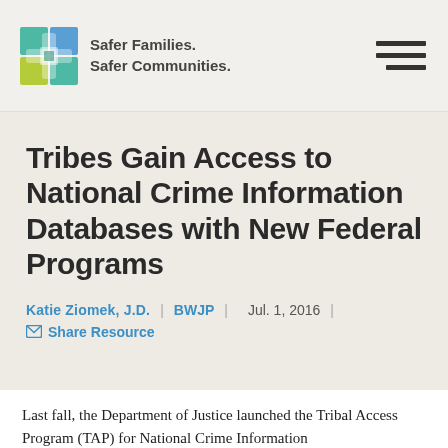Safer Families. Safer Communities.
Tribes Gain Access to National Crime Information Databases with New Federal Programs
Katie Ziomek, J.D.  |  BWJP  |  Jul. 1, 2016  |
Share Resource
Last fall, the Department of Justice launched the Tribal Access Program (TAP) for National Crime Information